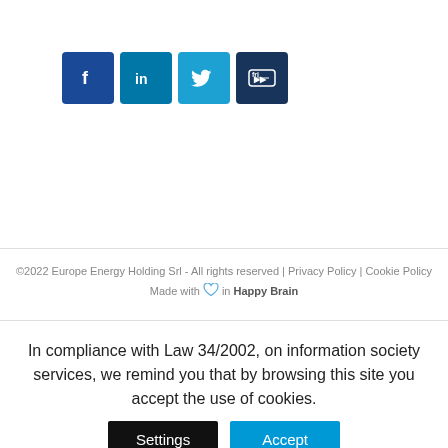[Figure (illustration): Social media icons: Facebook (dark blue), LinkedIn (dark teal), Twitter (light blue), YouTube/video (dark navy)]
©2022 Europe Energy Holding Srl - All rights reserved | Privacy Policy | Cookie Policy
Made with ♡ in Happy Brain
In compliance with Law 34/2002, on information society services, we remind you that by browsing this site you accept the use of cookies.